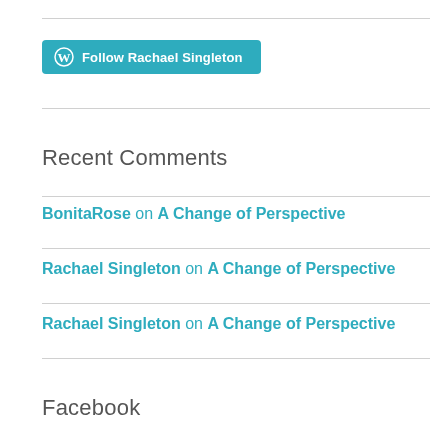[Figure (logo): WordPress Follow button with white WordPress logo icon and text 'Follow Rachael Singleton' on teal/blue background]
Recent Comments
BonitaRose on A Change of Perspective
Rachael Singleton on A Change of Perspective
Rachael Singleton on A Change of Perspective
Facebook